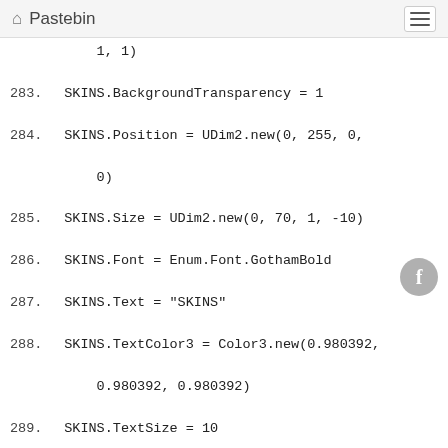Pastebin
1, 1)
283.  SKINS.BackgroundTransparency = 1
284.  SKINS.Position = UDim2.new(0, 255, 0,
          0)
285.  SKINS.Size = UDim2.new(0, 70, 1, -10)
286.  SKINS.Font = Enum.Font.GothamBold
287.  SKINS.Text = "SKINS"
288.  SKINS.TextColor3 = Color3.new(0.980392,
          0.980392, 0.980392)
289.  SKINS.TextSize = 10
290.  SKINS.TextYAlignment =
          Enum.TextYAlignment.Bottom
291.
292.  PERFORMANCE.Name = "PERFORMANCE"
293.  PERFORMANCE.Parent = selection_misctab
294.  PERFORMANCE.BackgroundColor3 =
          Color3.new(1, 1, 1)
295.  PERFORMANCE.BackgroundTransparency = 1
296.  PERFORMANCE.Position = UDim2.new(0,
          135, 0, 0)
297.  PERFORMANCE.Size = UDim2.new(0, 70, 1,
          -10)
298.  PERFORMANCE.Font = Enum.Font.GothamBold
299.  PERFORMANCE.Text = "PERFORMANCE"